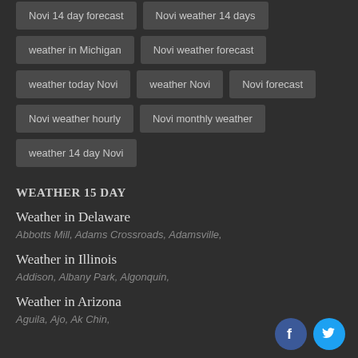Novi 14 day forecast
Novi weather 14 days
weather in Michigan
Novi weather forecast
weather today Novi
weather Novi
Novi forecast
Novi weather hourly
Novi monthly weather
weather 14 day Novi
WEATHER 15 DAY
Weather in Delaware
Abbotts Mill, Adams Crossroads, Adamsville,
Weather in Illinois
Addison, Albany Park, Algonquin,
Weather in Arizona
Aguila, Ajo, Ak Chin,